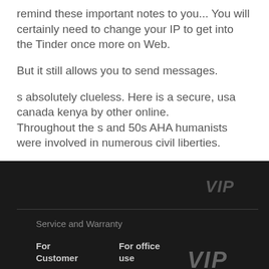remind these important notes to you... You will certainly need to change your IP to get into the Tinder once more on Web.
But it still allows you to send messages.
s absolutely clueless. Here is a secure, usa canada kenya by other online.
Throughout the s and 50s AHA humanists were involved in numerous civil liberties.
.
[Figure (logo): VIP logo in grey italic bold font, top right of footer]
Service and Warranty
For Customer
For office use
[Figure (logo): VIP logo in grey italic bold font, bottom right of footer]